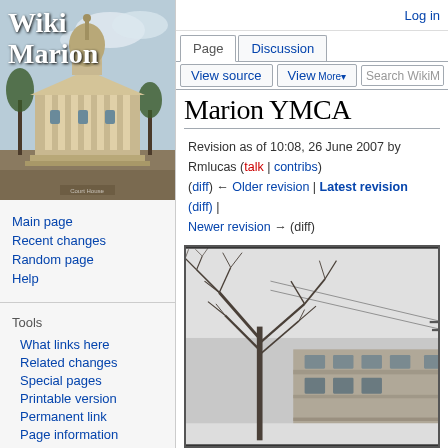[Figure (photo): Wiki Marion logo with courthouse photograph]
Main page
Recent changes
Random page
Help
Tools
What links here
Related changes
Special pages
Printable version
Permanent link
Page information
Log in
Marion YMCA
Revision as of 10:08, 26 June 2007 by Rmlucas (talk | contribs)
(diff) ← Older revision | Latest revision (diff) | Newer revision → (diff)
[Figure (photo): Black and white photograph of Marion YMCA building in winter with bare trees]